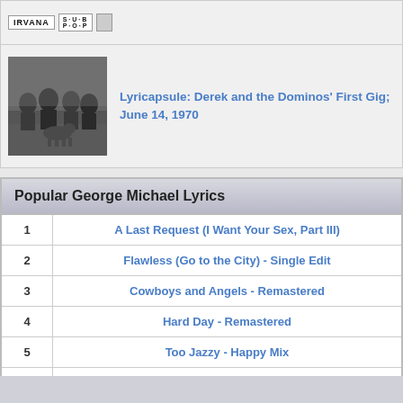[Figure (photo): Nirvana band logo with Sub Pop label logo on white background]
[Figure (photo): Black and white photo of Derek and the Dominos band members sitting outdoors with a dog]
Lyricapsule: Derek and the Dominos' First Gig; June 14, 1970
| Popular George Michael Lyrics |
| --- |
| 1 | A Last Request (I Want Your Sex, Part III) |
| 2 | Flawless (Go to the City) - Single Edit |
| 3 | Cowboys and Angels - Remastered |
| 4 | Hard Day - Remastered |
| 5 | Too Jazzy - Happy Mix |
| 6 | Too Jazzy (Happy mix) |